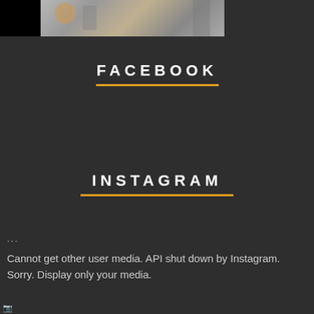[Figure (photo): Photo strip at top of page showing partial images of people, with a black section on the left and photo content on the right on a dark background]
FACEBOOK
INSTAGRAM
...
Cannot get other user media. API shut down by Instagram. Sorry. Display only your media.